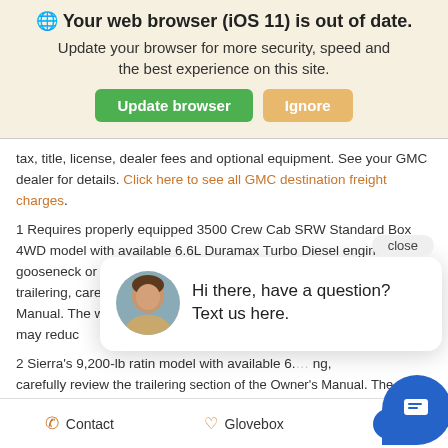🌐 Your web browser (iOS 11) is out of date.
Update your browser for more security, speed and the best experience on this site.
tax, title, license, dealer fees and optional equipment. See your GMC dealer for details. Click here to see all GMC destination freight charges.
1 Requires properly equipped 3500 Crew Cab SRW Standard Box 4WD model with available 6.6L Duramax Turbo Diesel engine and a gooseneck or fifth-wheel hitch. Before you buy a vehicle or use it for trailering, carefully review the trailering section of the Owner's Manual. The weight of passengers, cargo and options or accessories may reduc
2 Sierra's 9,200-lb ratin… model with available 6.… carefully review the trailering section of the Owner's Manual. The wei… passengers, cargo and options or accessories may reduce the amount y… tow.
[Figure (screenshot): Chat popup with avatar of woman and text: Hi there, have a question? Text us here.]
Contact   Glovebox